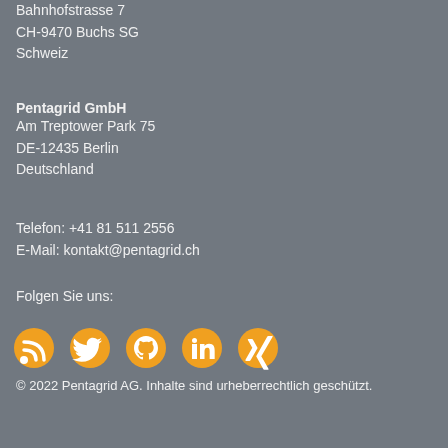Bahnhofstrasse 7
CH-9470 Buchs SG
Schweiz
Pentagrid GmbH
Am Treptower Park 75
DE-12435 Berlin
Deutschland
Telefon: +41 81 511 2556
E-Mail: kontakt@pentagrid.ch
Folgen Sie uns:
[Figure (illustration): Social media icons: RSS feed, Twitter bird, GitHub Octocat, LinkedIn, Xing]
© 2022 Pentagrid AG. Inhalte sind urheberrechtlich geschützt.